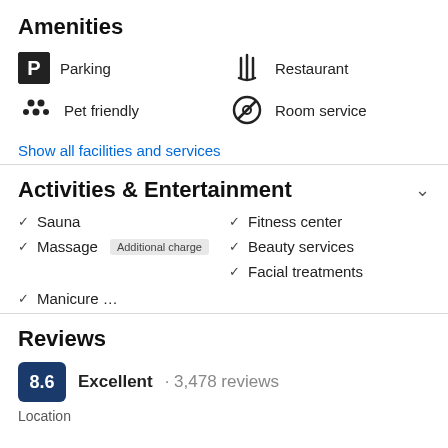Amenities
Parking
Pet friendly
Restaurant
Room service
Show all facilities and services
Activities & Entertainment
Sauna
Massage Additional charge
Fitness center
Beauty services
Facial treatments
Manicure …
Reviews
8.6  Excellent · 3,478 reviews